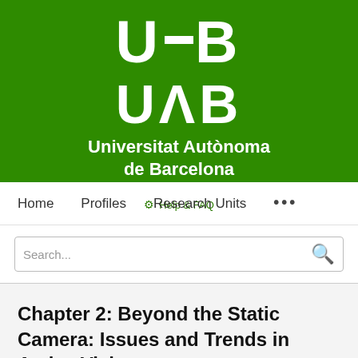[Figure (logo): UAB (Universitat Autònoma de Barcelona) logo on green background with Help & FAQ button]
Home   Profiles   Research Units   ...
Search...
Chapter 2: Beyond the Static Camera: Issues and Trends in Active Vision